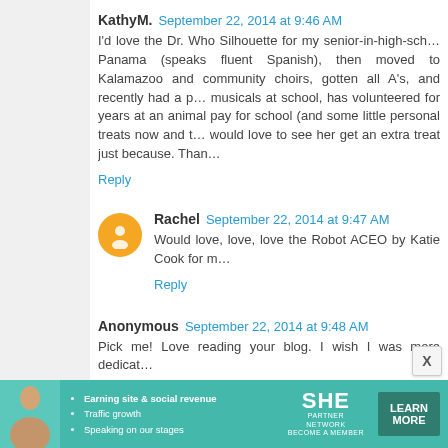KathyM. September 22, 2014 at 9:46 AM
I'd love the Dr. Who Silhouette for my senior-in-high-school daughter who was born in Panama (speaks fluent Spanish), then moved to Kalamazoo... and community choirs, gotten all A's, and recently had a part in musicals at school, has volunteered for years at an animal shelter, works to pay for school (and some little personal treats now and then)... would love to see her get an extra treat just because. Thank...
Reply
Rachel September 22, 2014 at 9:47 AM
Would love, love, love the Robot ACEO by Katie Cook for m...
Reply
Anonymous September 22, 2014 at 9:48 AM
Pick me! Love reading your blog. I wish I was more dedicat...
Reply
[Figure (infographic): SHE Partner Network advertisement banner with teal background, woman photo, bullet points about earning site & social revenue, traffic growth, speaking on our stages, SHE logo, and LEARN MORE button]